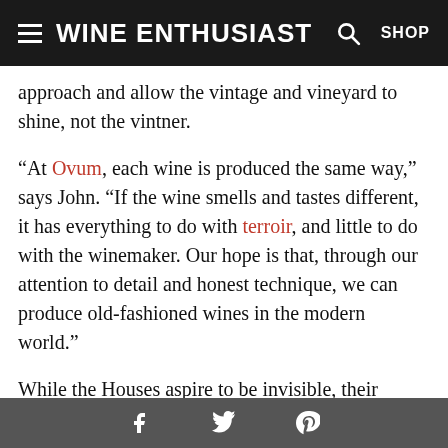Wine Enthusiast
approach and allow the vintage and vineyard to shine, not the vintner.
“At Ovum, each wine is produced the same way,” says John. “If the wine smells and tastes different, it has everything to do with terroir, and little to do with the winemaker. Our hope is that, through our attention to detail and honest technique, we can produce old-fashioned wines in the modern world.”
While the Houses aspire to be invisible, their winemaking techniques and goals to coax out textural complexity in their wines are impossible to completely overlook.
Ovum’s Rieslings and Gewürztraminers are pre-soaked
Facebook Twitter Pinterest